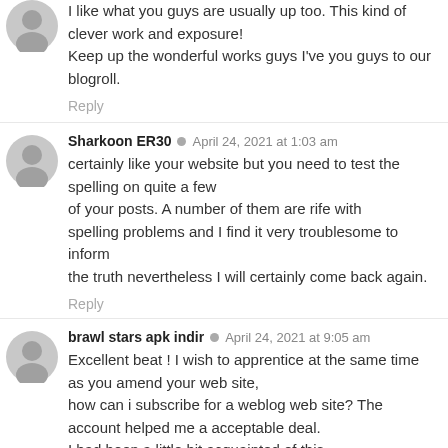I like what you guys are usually up too. This kind of clever work and exposure! Keep up the wonderful works guys I've you guys to our blogroll.
Reply
Sharkoon ER30  April 24, 2021 at 1:03 am
certainly like your website but you need to test the spelling on quite a few of your posts. A number of them are rife with spelling problems and I find it very troublesome to inform the truth nevertheless I will certainly come back again.
Reply
brawl stars apk indir  April 24, 2021 at 9:05 am
Excellent beat ! I wish to apprentice at the same time as you amend your web site, how can i subscribe for a weblog web site? The account helped me a acceptable deal. I had been a little bit acquainted of this your broadcast provided vibrant transparent concept